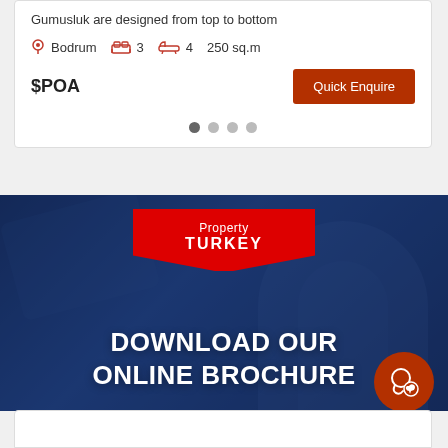Gumusluk are designed from top to bottom
Bodrum  3  4  250 sq.m
$POA
Quick Enquire
[Figure (screenshot): Carousel pagination dots: one dark filled dot followed by three lighter dots]
[Figure (photo): Dark blue banner with 'Property TURKEY' red badge logo and 'DOWNLOAD OUR ONLINE BROCHURE' text in white bold uppercase, with a blurred hand/tablet background and a dark blue overlay]
[Figure (other): Orange chat/phone circular button in bottom right corner]